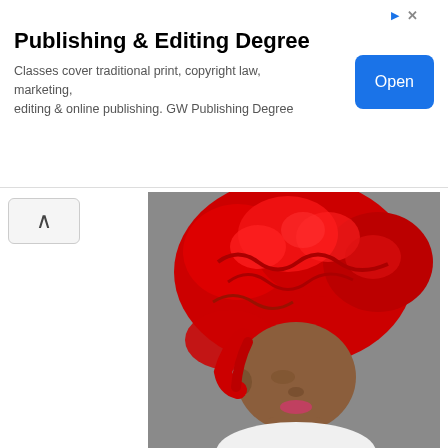[Figure (screenshot): Web advertisement banner for Publishing & Editing Degree with a blue Open button and ad icons in top right corner]
[Figure (photo): A woman with bright red short curly finger-wave hairstyle, close-up portrait, grey background, wearing white top with small earring visible]
This red is bright and bold and is perfect for women who prefer to have a little color in their life. Along with this style we have the gorgeous finger waves which totally brings back the 60's Hollywood style.